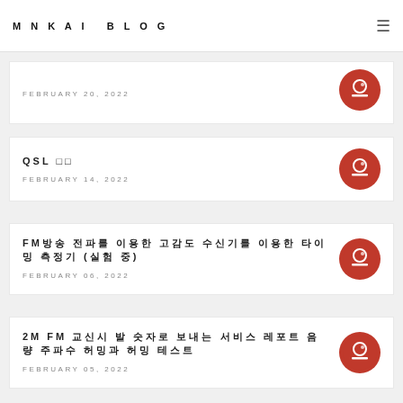MNKAI BLOG
FEBRUARY 20, 2022
QSL 🔲🔲
FEBRUARY 14, 2022
FM방송 전파를 이용한 고감도 수신기를 이용한 타이밍 측정기 (실험 중)
FEBRUARY 06, 2022
2M FM 교신시 발 숫자로 보내는 서비스 레포트 음량 주파수 허밍과 허밍 테스트
FEBRUARY 05, 2022